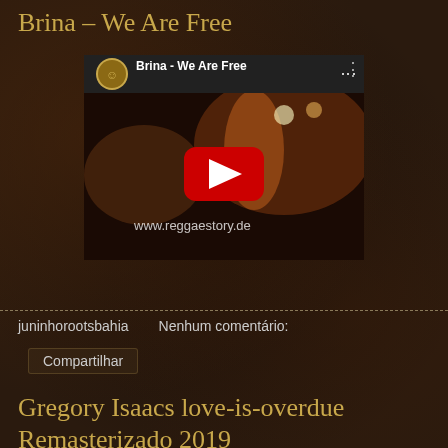Brina – We Are Free
[Figure (screenshot): YouTube video embed showing 'Brina - We Are Free' with a thumbnail of a female performer on stage. Shows YouTube logo, video title, options menu icon, and a red play button. URL www.reggaestory.de visible on thumbnail.]
juninhorootsbahia   Nenhum comentário:
Compartilhar
Gregory Isaacs love-is-overdue Remasterizado 2019